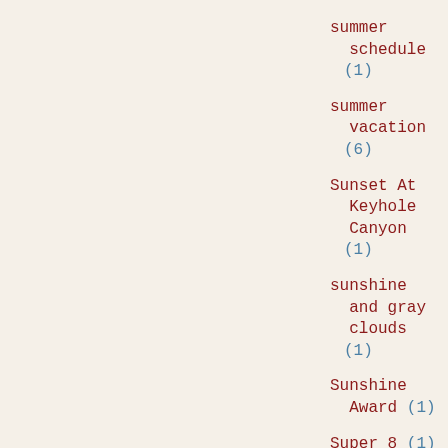summer schedule (1)
summer vacation (6)
Sunset At Keyhole Canyon (1)
sunshine and gray clouds (1)
Sunshine Award (1)
Super 8 (1)
super good